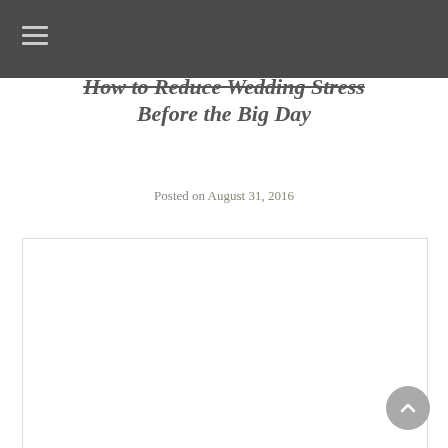≡
How to Reduce Wedding Stress Before the Big Day
Posted on August 31, 2016
[Figure (photo): Large white content/image area with a back-to-top circular button in the bottom right corner]